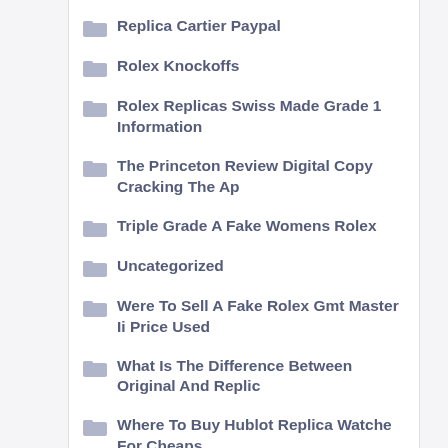Replica Cartier Paypal
Rolex Knockoffs
Rolex Replicas Swiss Made Grade 1 Information
The Princeton Review Digital Copy Cracking The Ap
Triple Grade A Fake Womens Rolex
Uncategorized
Were To Sell A Fake Rolex Gmt Master Ii Price Used
What Is The Difference Between Original And Replic
Where To Buy Hublot Replica Watche For Cheaps
Where To Buy Rolex Replica Submariner
Where To Buy The Best Quality Replica Hublot